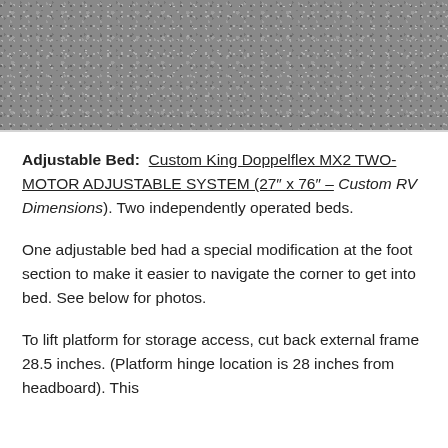[Figure (photo): Grainy gray textured surface photo, partial view cropped at top of page]
Adjustable Bed: Custom King Doppelflex MX2 TWO-MOTOR ADJUSTABLE SYSTEM (27″ x 76″ – Custom RV Dimensions). Two independently operated beds.
One adjustable bed had a special modification at the foot section to make it easier to navigate the corner to get into bed. See below for photos.
To lift platform for storage access, cut back external frame 28.5 inches. (Platform hinge location is 28 inches from headboard). This